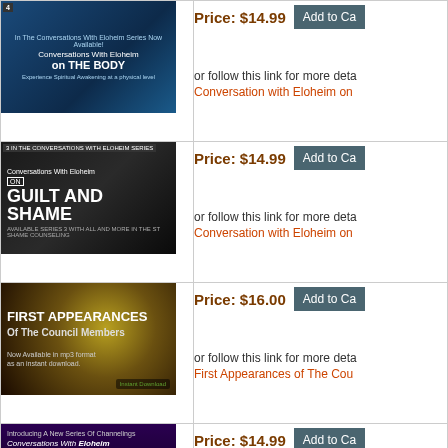[Figure (illustration): Conversations With Eloheim ON THE BODY product image - blue mystical background with human figure silhouette]
Price: $14.99
Add to Cart
or follow this link for more details:
Conversation with Eloheim on
[Figure (illustration): Conversations With Eloheim ON GUILT AND SHAME product image - dark background with bold white text]
Price: $14.99
Add to Cart
or follow this link for more details:
Conversation with Eloheim on
[Figure (illustration): FIRST APPEARANCES Of The Council Members product image - golden/dark background with download icon]
Price: $16.00
Add to Cart
or follow this link for more details:
First Appearances of The Cou
[Figure (illustration): Conversations With Eloheim ON FEAR product image - purple background with large text]
Price: $14.99
Add to Cart